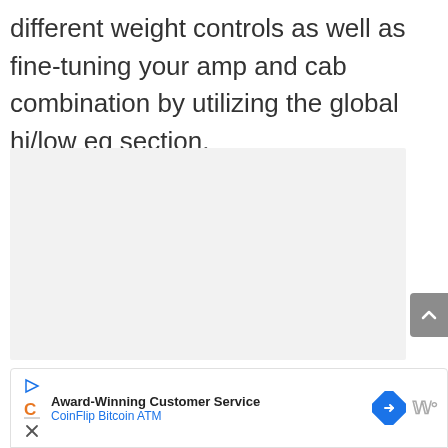different weight controls as well as fine-tuning your amp and cab combination by utilizing the global hi/low eq section.
[Figure (other): Large light gray rectangular placeholder box]
[Figure (other): Gray scroll-to-top button with upward chevron arrow on the right side]
Award-Winning Customer Service
CoinFlip Bitcoin ATM